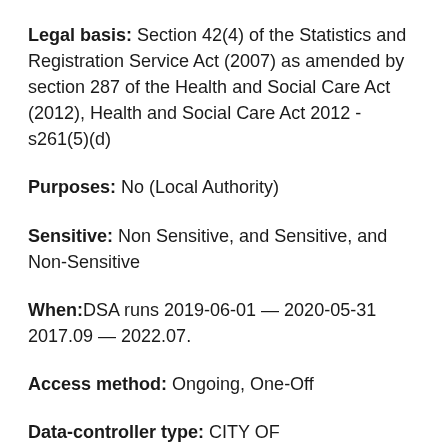Legal basis: Section 42(4) of the Statistics and Registration Service Act (2007) as amended by section 287 of the Health and Social Care Act (2012), Health and Social Care Act 2012 - s261(5)(d)
Purposes: No (Local Authority)
Sensitive: Non Sensitive, and Sensitive, and Non-Sensitive
When:DSA runs 2019-06-01 — 2020-05-31 2017.09 — 2022.07.
Access method: Ongoing, One-Off
Data-controller type: CITY OF